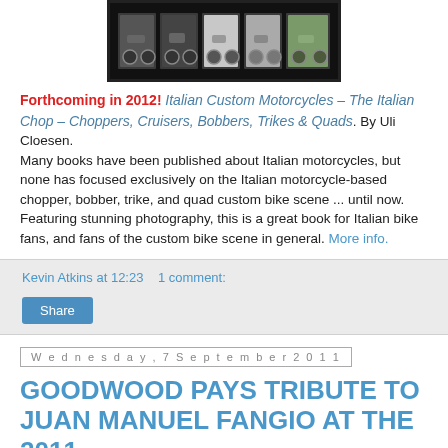[Figure (photo): Book cover image showing Italian custom motorcycles — a row of five motorcycle photos in a dark/black bordered frame]
Forthcoming in 2012! Italian Custom Motorcycles – The Italian Chop – Choppers, Cruisers, Bobbers, Trikes & Quads. By Uli Cloesen. Many books have been published about Italian motorcycles, but none has focused exclusively on the Italian motorcycle-based chopper, bobber, trike, and quad custom bike scene ... until now. Featuring stunning photography, this is a great book for Italian bike fans, and fans of the custom bike scene in general. More info.
Kevin Atkins at 12:23    1 comment:
Share
Wednesday, 7 September 2011
GOODWOOD PAYS TRIBUTE TO JUAN MANUEL FANGIO AT THE 2011 REVIVAL